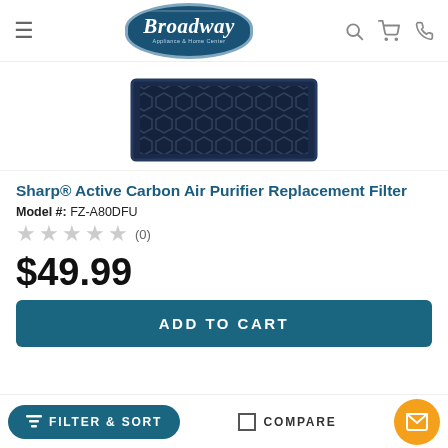[Figure (logo): Broadway Appliance & Home Center logo — dark blue oval with white italic text]
[Figure (photo): Sharp air purifier replacement filter — dark navy blue rectangular filter with hexagonal mesh pattern]
Sharp® Active Carbon Air Purifier Replacement Filter
Model #: FZ-A80DFU
★★★★★ (0)
$49.99
ADD TO CART
FILTER & SORT
COMPARE